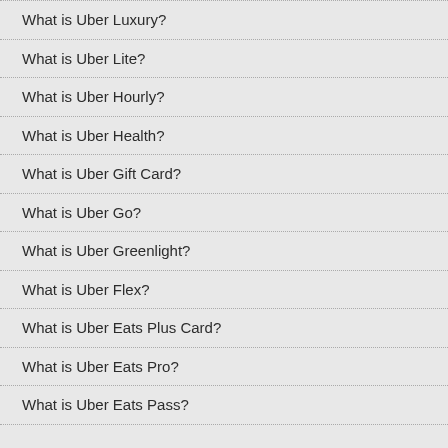What is Uber Luxury?
What is Uber Lite?
What is Uber Hourly?
What is Uber Health?
What is Uber Gift Card?
What is Uber Go?
What is Uber Greenlight?
What is Uber Flex?
What is Uber Eats Plus Card?
What is Uber Eats Pro?
What is Uber Eats Pass?